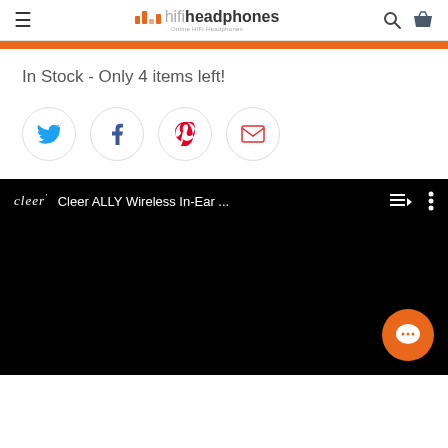hifiheadphones - Online HiFi Headphones
In Stock - Only 4 items left!
[Figure (infographic): Social share buttons: Twitter, Facebook, Pinterest, Email]
[Figure (screenshot): YouTube video thumbnail - Cleer ALLY Wireless In-Ear ... with playlist and menu icons, Cleer logo, and chat bubble button]